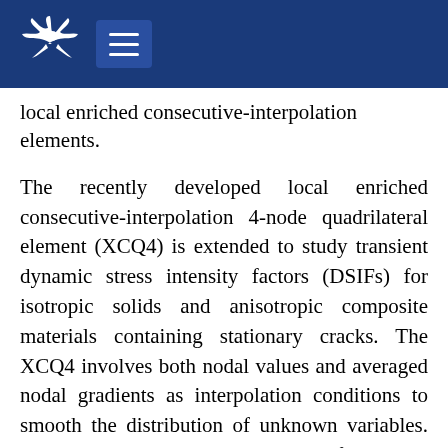[Figure (logo): Navigation header bar with bird logo and hamburger menu icon on dark blue background]
local enriched consecutive-interpolation elements.
The recently developed local enriched consecutive-interpolation 4-node quadrilateral element (XCQ4) is extended to study transient dynamic stress intensity factors (DSIFs) for isotropic solids and anisotropic composite materials containing stationary cracks. The XCQ4 involves both nodal values and averaged nodal gradients as interpolation conditions to smooth the distribution of unknown variables. The possible physical properties of enriched nodes in consecutive-interpolation procedure (CIP) would be thought as non-locality feature, which could improve the